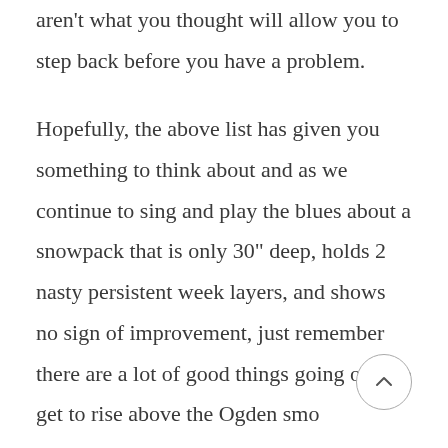aren't what you thought will allow you to step back before you have a problem.

Hopefully, the above list has given you something to think about and as we continue to sing and play the blues about a snowpack that is only 30" deep, holds 2 nasty persistent week layers, and shows no sign of improvement, just remember there are a lot of good things going on. We get to rise above the Ogden smo...